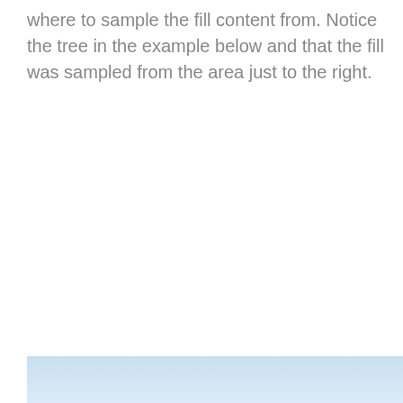where to sample the fill content from. Notice the tree in the example below and that the fill was sampled from the area just to the right.
[Figure (photo): Bottom portion of an image showing a light blue/sky gradient strip, likely part of a larger example image demonstrating fill content sampling.]